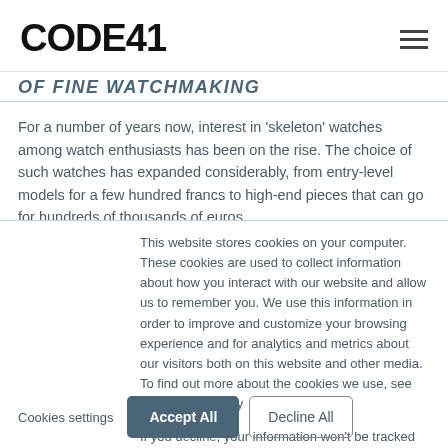CODE41
OF FINE WATCHMAKING
For a number of years now, interest in 'skeleton' watches among watch enthusiasts has been on the rise. The choice of such watches has expanded considerably, from entry-level models for a few hundred francs to high-end pieces that can go for hundreds of thousands of euros.
This website stores cookies on your computer. These cookies are used to collect information about how you interact with our website and allow us to remember you. We use this information in order to improve and customize your browsing experience and for analytics and metrics about our visitors both on this website and other media. To find out more about the cookies we use, see our Privacy Policy
If you decline, your information won't be tracked when you visit this website. A single cookie will be used in your browser to remember your preference not to be tracked.
Cookies settings
Accept All
Decline All